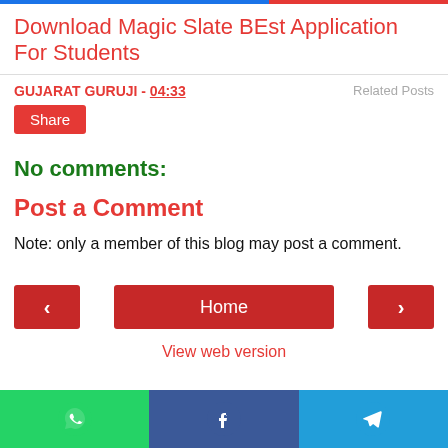Download Magic Slate BEst Application For Students
GUJARAT GURUJI - 04:33
Related Posts
Share
No comments:
Post a Comment
Note: only a member of this blog may post a comment.
< Home > View web version
WhatsApp Facebook Telegram